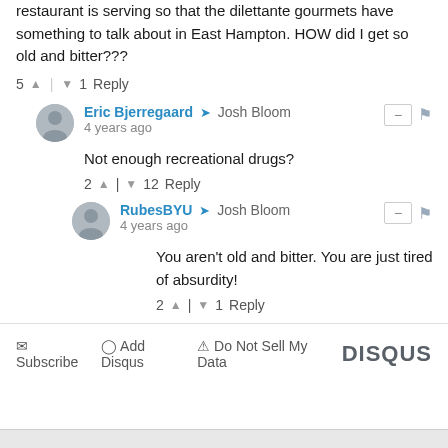restaurant is serving so that the dilettante gourmets have something to talk about in East Hampton. HOW did I get so old and bitter???
5 ↑ | ↓ 1 Reply
Eric Bjerregaard → Josh Bloom
4 years ago
Not enough recreational drugs?
2 ↑ | ↓ 12 Reply
RubesBYU → Josh Bloom
4 years ago
You aren't old and bitter. You are just tired of absurdity!
2 ↑ | ↓ 1 Reply
Subscribe  Add Disqus  Do Not Sell My Data   DISQUS